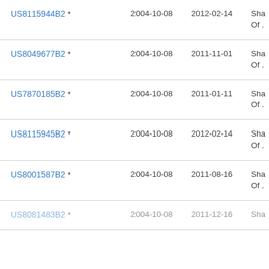| Patent Number | Filed | Publication Date | Assignee |
| --- | --- | --- | --- |
| US8115944B2 * | 2004-10-08 | 2012-02-14 | Sha... Of... |
| US8049677B2 * | 2004-10-08 | 2011-11-01 | Sha... Of... |
| US7870185B2 * | 2004-10-08 | 2011-01-11 | Sha... Of... |
| US8115945B2 * | 2004-10-08 | 2012-02-14 | Sha... Of... |
| US8001587B2 * | 2004-10-08 | 2011-08-16 | Sha... Of... |
| US8081483B2 * | 2004-10-08 | 2011-12-16 | Sha... |